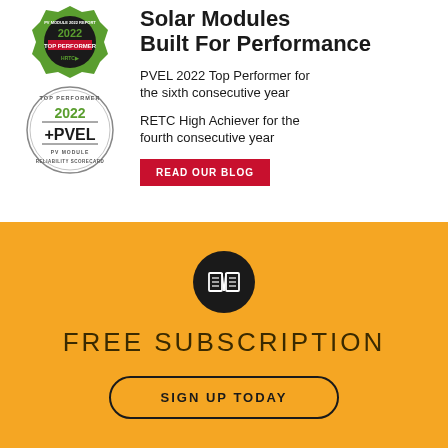[Figure (logo): PVEL 2022 Module Report Top Performer badge - green hexagonal seal with '2022 TOP PERFORMER' text]
[Figure (logo): PVEL 2022 Top Performer PV Module Reliability Scorecard badge - circular badge with '+PVEL' branding]
Solar Modules Built For Performance
PVEL 2022 Top Performer for the sixth consecutive year
RETC High Achiever for the fourth consecutive year
READ OUR BLOG
[Figure (illustration): Open book icon in white on dark circle, over golden yellow background with blurred industrial imagery]
FREE SUBSCRIPTION
SIGN UP TODAY